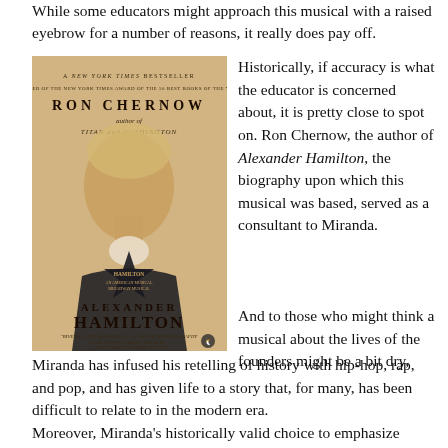While some educators might approach this musical with a raised eyebrow for a number of reasons, it really does pay off. Historically, if accuracy is what the educator is concerned about, it is pretty close to spot on. Ron Chernow, the author of Alexander Hamilton, the biography upon which this musical was based, served as a consultant to Miranda.
[Figure (photo): Book cover of 'Alexander Hamilton' by Ron Chernow, showing a portrait of Hamilton with the Hamilton musical star logo, published as a New York Times Bestseller]
And to those who might think a musical about the lives of the founders might be a bit dry, Miranda has infused his retelling of history with hip-hop, rap, and pop, and has given life to a story that, for many, has been difficult to relate to in the modern era.
Moreover, Miranda's historically valid choice to emphasize the lives and careers of our country's founders as